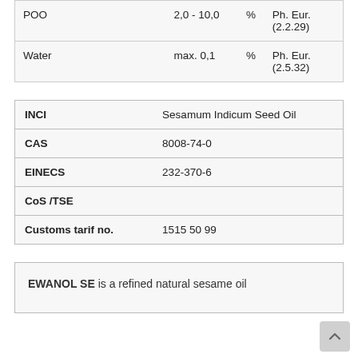|  |  |  |  |
| --- | --- | --- | --- |
| POO | 2,0 - 10,0 | % | Ph. Eur. (2.2.29) |
| Water | max. 0,1 | % | Ph. Eur. (2.5.32) |
| INCI | Sesamum Indicum Seed Oil |
| CAS | 8008-74-0 |
| EINECS | 232-370-6 |
| CoS /TSE |  |
| Customs tarif no. | 1515 50 99 |
EWANOL SE is a refined natural sesame oil